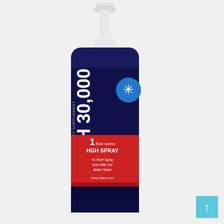[Figure (photo): Product photo of HGH 30,000 dietary supplement spray bottle. Dark blue/cobalt glass bottle with a white pump spray top. The label has a dark navy upper section showing 'HGH 30,000' in large bold white text with a blue snowflake/asterisk badge on the right. Below is a red band with text reading '1 fluid ounce HGH SPRAY', '#1 High Spray Now With Our Better Taste!', and 'Purity Select, Inc.' The bottle has a white ribbed pump dispenser at the top.]
[Figure (other): Small light blue square with an upward arrow icon, positioned in the bottom-right corner of the page.]